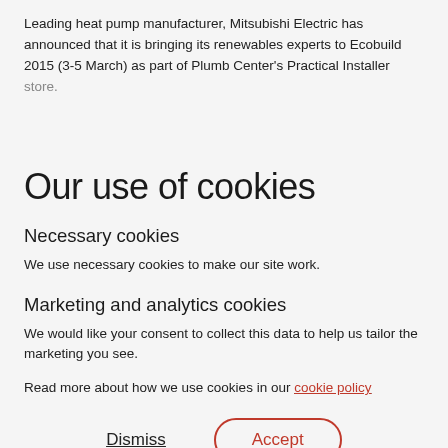Leading heat pump manufacturer, Mitsubishi Electric has announced that it is bringing its renewables experts to Ecobuild 2015 (3-5 March) as part of Plumb Center’s Practical Installer store.
Our use of cookies
Necessary cookies
We use necessary cookies to make our site work.
Marketing and analytics cookies
We would like your consent to collect this data to help us tailor the marketing you see.
Read more about how we use cookies in our cookie policy
Dismiss   Accept